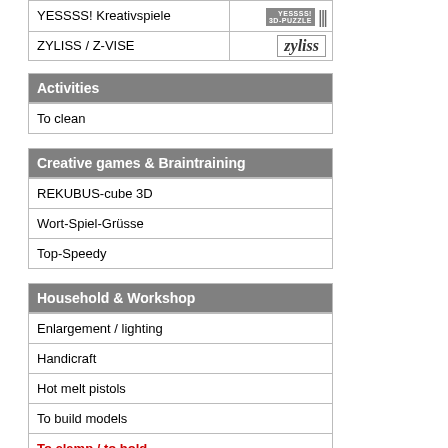| Brand | Logo |
| --- | --- |
| RUSTYCO |  |
| SWISSREX | SWISSREX |
| UNIMAT 1 | UNIMAT 1 |
| YESSSS! Kreativspiele |  |
| ZYLISS / Z-VISE | zyliss |
Activities
To clean
Creative games & Braintraining
REKUBUS-cube 3D
Wort-Spiel-Grüsse
Top-Speedy
Household & Workshop
Enlargement / lighting
Handicraft
Hot melt pistols
To build models
To clamp / to hold
To glue